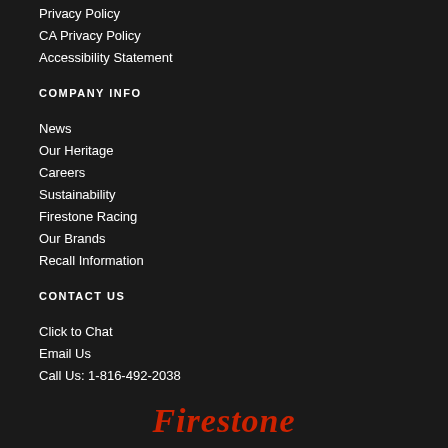Privacy Policy
CA Privacy Policy
Accessibility Statement
COMPANY INFO
News
Our Heritage
Careers
Sustainability
Firestone Racing
Our Brands
Recall Information
CONTACT US
Click to Chat
Email Us
Call Us: 1-816-492-2038
[Figure (logo): Firestone brand logo in red cursive text]